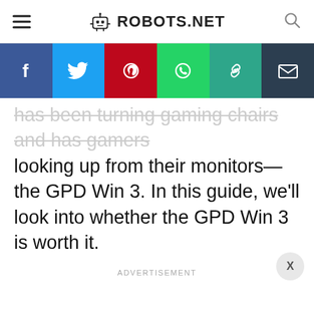ROBOTS.NET
[Figure (infographic): Social sharing bar with buttons for Facebook, Twitter, Pinterest, WhatsApp, copy link, and email]
has been turning gaming chairs and has gamers looking up from their monitors— the GPD Win 3. In this guide, we'll look into whether the GPD Win 3 is worth it.
ADVERTISEMENT
CONTINUE READING BELOW